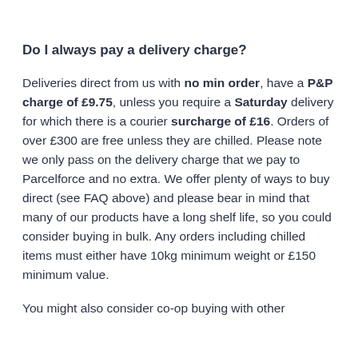Do I always pay a delivery charge?
Deliveries direct from us with no min order, have a P&P charge of £9.75, unless you require a Saturday delivery for which there is a courier surcharge of £16. Orders of over £300 are free unless they are chilled. Please note we only pass on the delivery charge that we pay to Parcelforce and no extra. We offer plenty of ways to buy direct (see FAQ above) and please bear in mind that many of our products have a long shelf life, so you could consider buying in bulk. Any orders including chilled items must either have 10kg minimum weight or £150 minimum value.
You might also consider co-op buying with other